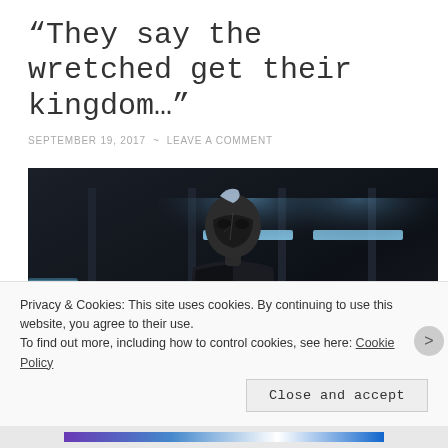“They say the wretched get their kingdom…”
SEPTEMBER 19, 2017 ~ LEAVE A COMMENT
[Figure (photo): A dark, moody screenshot or digital artwork showing a masked figure in a dark corridor with blue tinted lighting overhead.]
Privacy & Cookies: This site uses cookies. By continuing to use this website, you agree to their use.
To find out more, including how to control cookies, see here: Cookie Policy
Close and accept